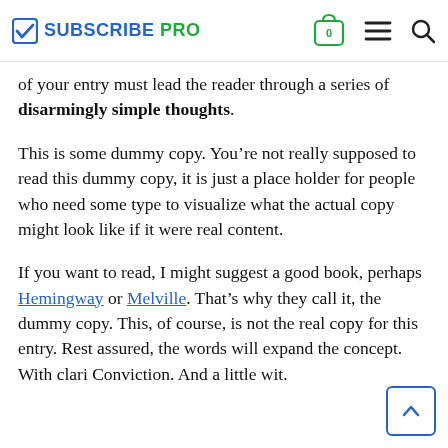SUBSCRIBE PRO
of your entry must lead the reader through a series of disarmingly simple thoughts.
This is some dummy copy. You’re not really supposed to read this dummy copy, it is just a place holder for people who need some type to visualize what the actual copy might look like if it were real content.
If you want to read, I might suggest a good book, perhaps Hemingway or Melville. That’s why they call it, the dummy copy. This, of course, is not the real copy for this entry. Rest assured, the words will expand the concept. With clari Conviction. And a little wit.